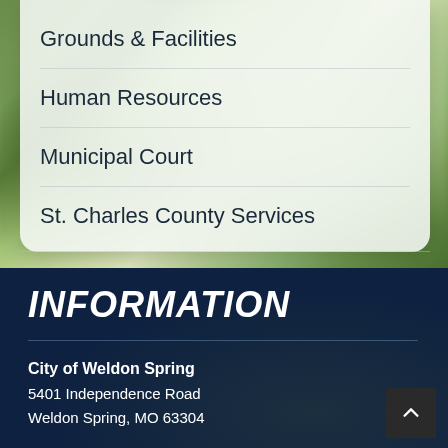Grounds & Facilities
Human Resources
Municipal Court
St. Charles County Services
INFORMATION
City of Weldon Spring
5401 Independence Road
Weldon Spring, MO 63304